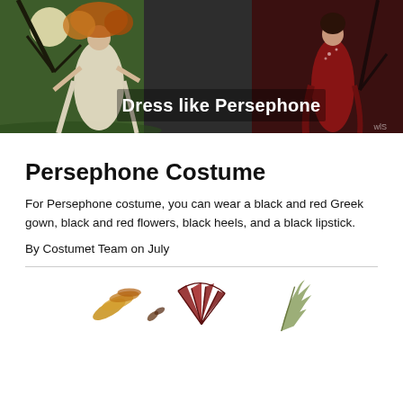[Figure (illustration): Hero banner image showing two depictions of Persephone — one in a white flowing gown with autumn foliage on the left, and one in a red gown on the right, against a dark background with trees and moonlight. Text overlay reads 'Dress like Persephone'.]
Persephone Costume
For Persephone costume, you can wear a black and red Greek gown, black and red flowers, black heels, and a black lipstick.
By Costumet Team on July
[Figure (illustration): Row of small decorative illustrations: a feathered wing, small leaves/feathers, a red fan/shell, and a feather quill.]